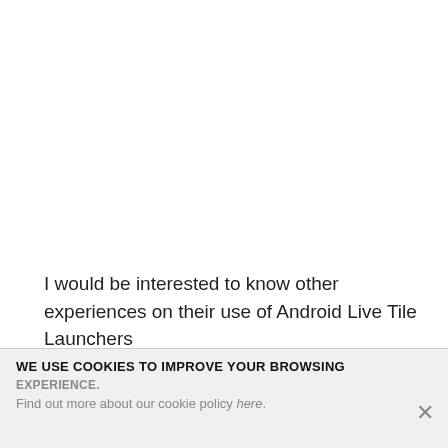I would be interested to know other experiences on their use of Android Live Tile Launchers
Oh by the way, Thanks Microsoft a Bunch for not supporting us WP refugees.
WE USE COOKIES TO IMPROVE YOUR BROWSING EXPERIENCE.
Find out more about our cookie policy here.